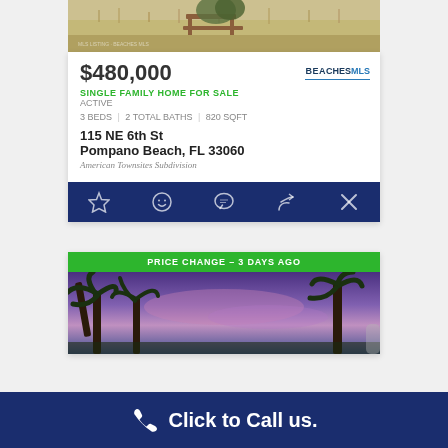[Figure (photo): Top portion of a yard with dry grass and a wooden bench/table structure]
$480,000
[Figure (logo): BeachesMLS logo]
SINGLE FAMILY HOME FOR SALE
ACTIVE
3 BEDS | 2 TOTAL BATHS | 820 SQFT
115 NE 6th St
Pompano Beach, FL 33060
American Townsites Subdivision
[Figure (infographic): Action bar with icons: star (favorite), smiley face, chat bubble, share arrow, X (close)]
PRICE CHANGE - 3 DAYS AGO
[Figure (photo): Palm trees against a purple/pink sunset sky]
Click to Call us.